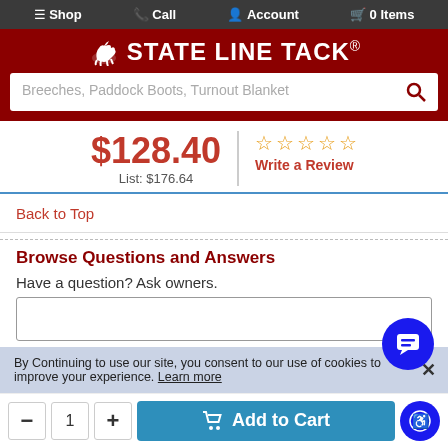Shop  Call  Account  0 Items
[Figure (logo): State Line Tack logo with horse icon on dark red background]
[Figure (screenshot): Search bar with placeholder text: Breeches, Paddock Boots, Turnout Blanket]
$128.40  List: $176.64  ☆☆☆☆☆  Write a Review
Back to Top
Browse Questions and Answers
Have a question? Ask owners.
By Continuing to use our site, you consent to our use of cookies to improve your experience. Learn more
- 1 + Add to Cart